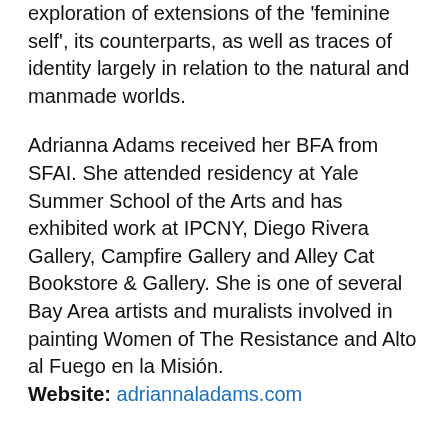exploration of extensions of the 'feminine self', its counterparts, as well as traces of identity largely in relation to the natural and manmade worlds.
Adrianna Adams received her BFA from SFAI. She attended residency at Yale Summer School of the Arts and has exhibited work at IPCNY, Diego Rivera Gallery, Campfire Gallery and Alley Cat Bookstore & Gallery. She is one of several Bay Area artists and muralists involved in painting Women of The Resistance and Alto al Fuego en la Misión.
Website: adriannaladams.com